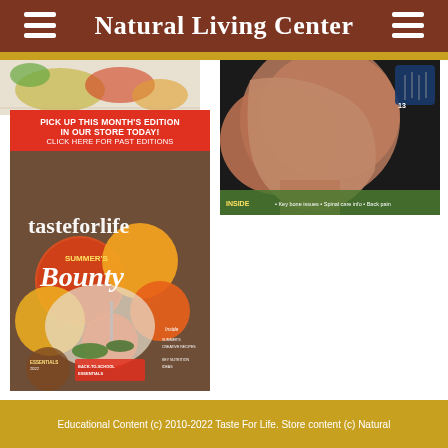Natural Living Center
[Figure (photo): Photo of food items (tomatoes/vegetables) partially visible at top left]
[Figure (photo): Photo of a person's face (wellness/spa imagery) with 'INSIDE' text banner at bottom, on the right side]
[Figure (photo): Taste For Life magazine cover showing Summer's Bounty edition with tomatoes, with red header reading 'PICK UP THIS MONTH'S EDITION IN OUR STORE TODAY! CLICK HERE FOR PAST EDITIONS']
Educational Content (c) 2010-2022 Taste For Life. Store content (c) Natural